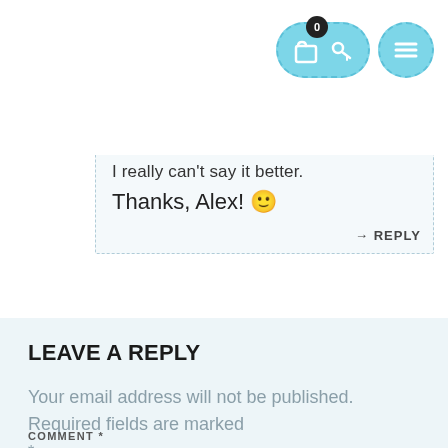[Figure (infographic): Navigation bar with a teal/cyan pill-shaped icon group (shopping bag with badge '0' and key icon) and a separate circular menu icon with three horizontal lines]
I really can't say it better.
Thanks, Alex! 🙂
→ REPLY
LEAVE A REPLY
Your email address will not be published. Required fields are marked *
COMMENT *